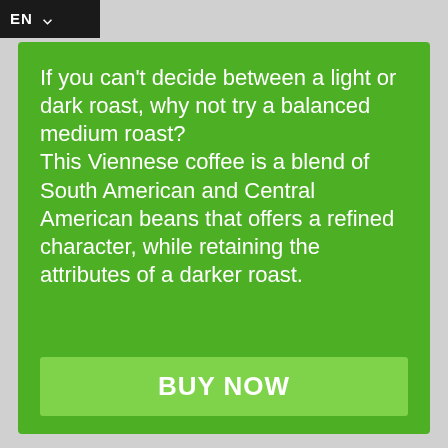EN
If you can't decide between a light or dark roast, why not try a balanced medium roast? This Viennese coffee is a blend of South American and Central American beans that offers a refined character, while retaining the attributes of a darker roast.
BUY NOW